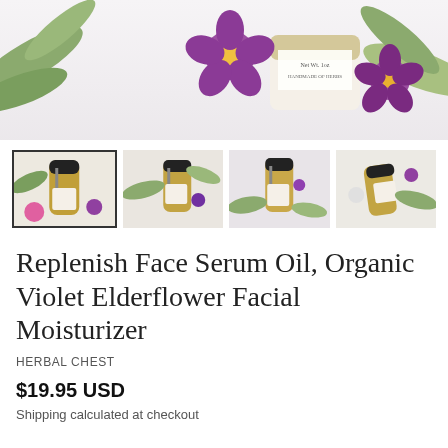[Figure (photo): Main product photo showing dropper bottle of face serum oil with purple flowers and green leaves on white background]
[Figure (photo): Four thumbnail images of the Replenish Face Serum Oil dropper bottle with flowers, first thumbnail selected with border]
Replenish Face Serum Oil, Organic Violet Elderflower Facial Moisturizer
HERBAL CHEST
$19.95 USD
Shipping calculated at checkout